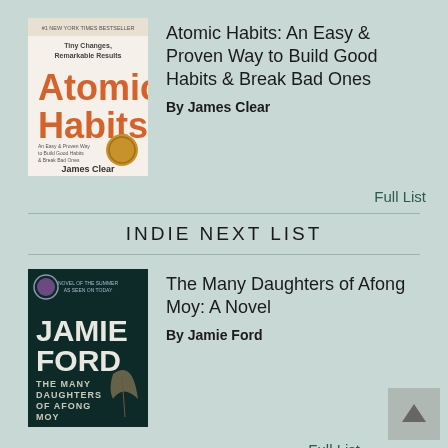[Figure (illustration): Book cover of Atomic Habits by James Clear. Orange text 'Atomic' and 'Habits' on light background with subtitle and author name.]
Atomic Habits: An Easy & Proven Way to Build Good Habits & Break Bad Ones
By James Clear
Full List
INDIE NEXT LIST
[Figure (illustration): Book cover of The Many Daughters of Afong Moy: A Novel by Jamie Ford. Dark teal background with large white text author name and book title.]
The Many Daughters of Afong Moy: A Novel
By Jamie Ford
Full List